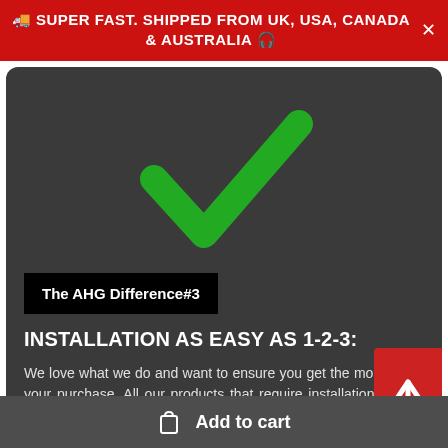🚚 SUPER FAST. SHIPPED FROM UK, USA, CANADA & AUSTRALIA 🎧
[Figure (illustration): Large green checkmark on dark grey rounded background]
The AHG Difference#3
INSTALLATION AS EASY AS 1-2-3:
We love what we do and want to ensure you get the most out of your purchase. All our products that require installation have a linked video guide
Add to cart